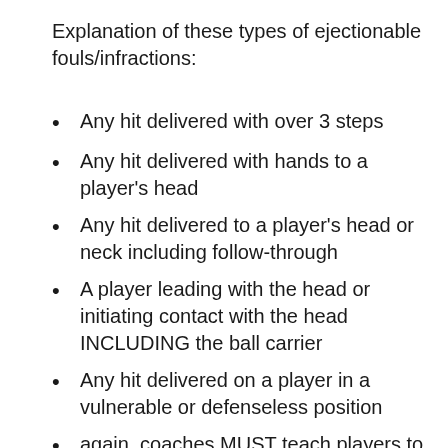Explanation of these types of ejectionable fouls/infractions:
Any hit delivered with over 3 steps
Any hit delivered with hands to a player's head
Any hit delivered to a player's head or neck including follow-through
A player leading with the head or initiating contact with the head INCLUDING the ball carrier
Any hit delivered on a player in a vulnerable or defenseless position
again, coaches MUST teach players to avoid delivering uncontrolled, excessive, or…